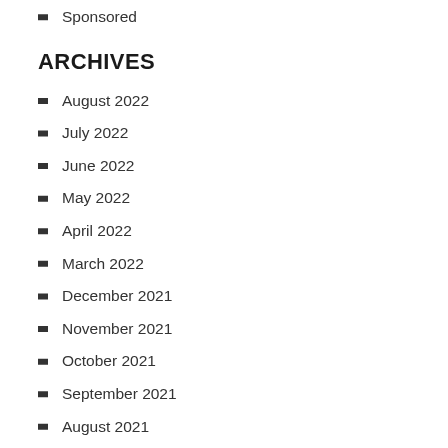Sponsored
ARCHIVES
August 2022
July 2022
June 2022
May 2022
April 2022
March 2022
December 2021
November 2021
October 2021
September 2021
August 2021
July 2021
June 2021
May 2021